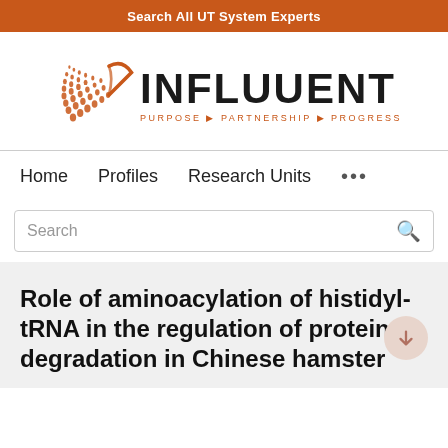Search All UT System Experts
[Figure (logo): Influuent logo with orange geometric shape and text 'INFLUUENT PURPOSE ▶ PARTNERSHIP ▶ PROGRESS']
Home   Profiles   Research Units   ...
Search
Role of aminoacylation of histidyl-tRNA in the regulation of protein degradation in Chinese hamster